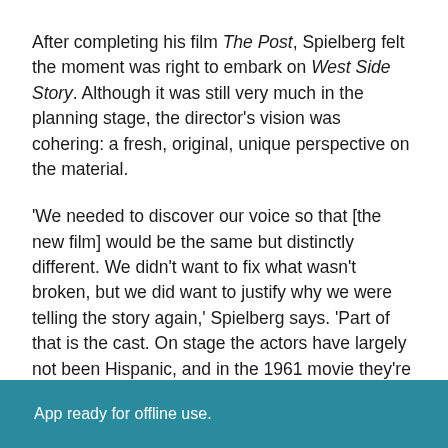After completing his film The Post, Spielberg felt the moment was right to embark on West Side Story. Although it was still very much in the planning stage, the director's vision was cohering: a fresh, original, unique perspective on the material.
'We needed to discover our voice so that [the new film] would be the same but distinctly different. We didn't want to fix what wasn't broken, but we did want to justify why we were telling the story again,' Spielberg says. 'Part of that is the cast. On stage the actors have largely not been Hispanic, and in the 1961 movie they're in their thirties, and many who were portraying the Puerto Ricans are white. I wanted to cast it authentically, to ensure that the
App ready for offline use.